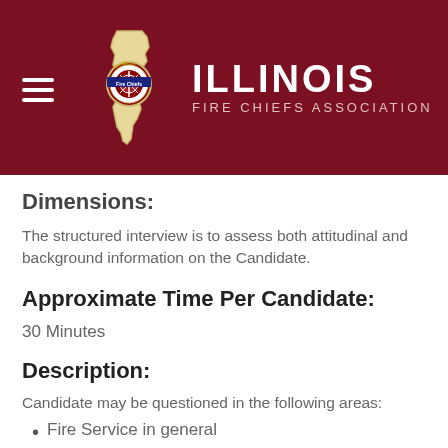[Figure (logo): Illinois Fire Chiefs Association logo with Illinois state outline in tan/beige and circular emblem in center, alongside white text 'ILLINOIS' and 'FIRE CHIEFS ASSOCIATION' on dark red background. Hamburger menu icon on left.]
Dimensions:
The structured interview is to assess both attitudinal and background information on the Candidate.
Approximate Time Per Candidate:
30 Minutes
Description:
Candidate may be questioned in the following areas:
Fire Service in general
Local department rules, regulations, ordinance